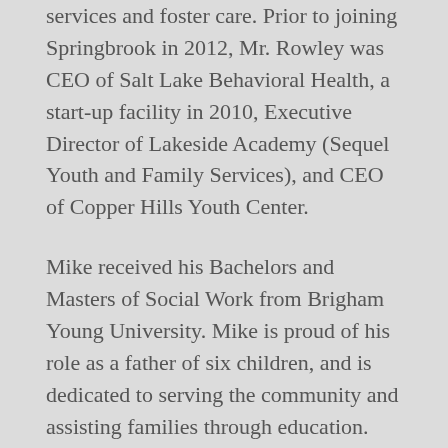services and foster care. Prior to joining Springbrook in 2012, Mr. Rowley was CEO of Salt Lake Behavioral Health, a start-up facility in 2010, Executive Director of Lakeside Academy (Sequel Youth and Family Services), and CEO of Copper Hills Youth Center.
Mike received his Bachelors and Masters of Social Work from Brigham Young University. Mike is proud of his role as a father of six children, and is dedicated to serving the community and assisting families through education. Serving on the Board of Autism Family Education Fund provides another opportunity to assist families in need.
Contact: mrowley@autismfef.org